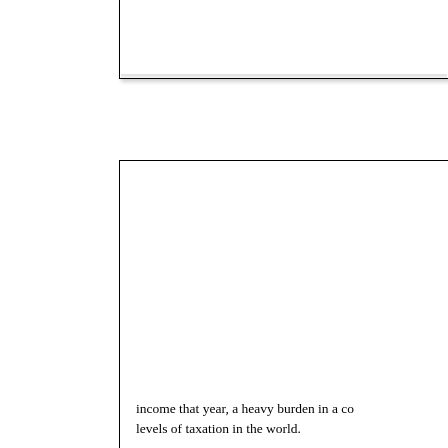[Figure (other): Partial white box with border visible at top of page, content not visible]
income that year, a heavy burden in a country with one of the highest levels of taxation in the world.
At the same time, the number of rape charges has more than doubled above twenty years. Rape cases involving immigrants are twice as common today as they were a generation ago. Men from Africa, Morocco and Tunisia dominate the group. According to criminologist who has investigated violent crimes in one county, 77% of all convicted rapists were born on foreign soil or by foreign parents. Sweden chose to continue Muslim immigration because it could not afford not to, but it indicates that it mainly boosts the number of rape charges. Estimates that fear of honour killings is a very real issue and that as many as 100.000 young Swedish girls[4] live as victims of this.
An ever growing group of non-western immigrants is unemployable. This was the conclusion of a study by Tyra Research and the University of Oslo. Ek...